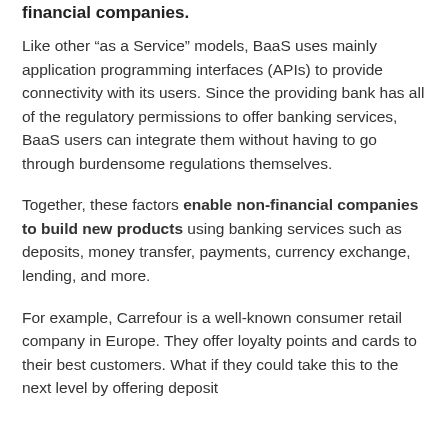financial companies.
Like other “as a Service” models, BaaS uses mainly application programming interfaces (APIs) to provide connectivity with its users. Since the providing bank has all of the regulatory permissions to offer banking services, BaaS users can integrate them without having to go through burdensome regulations themselves.
Together, these factors enable non-financial companies to build new products using banking services such as deposits, money transfer, payments, currency exchange, lending, and more.
For example, Carrefour is a well-known consumer retail company in Europe. They offer loyalty points and cards to their best customers. What if they could take this to the next level by offering deposit